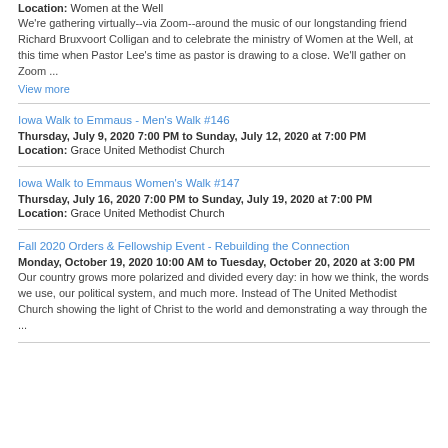Location: Women at the Well
We're gathering virtually--via Zoom--around the music of our longstanding friend Richard Bruxvoort Colligan and to celebrate the ministry of Women at the Well, at this time when Pastor Lee's time as pastor is drawing to a close. We'll gather on Zoom ...
View more
Iowa Walk to Emmaus - Men's Walk #146
Thursday, July 9, 2020 7:00 PM to Sunday, July 12, 2020 at 7:00 PM
Location: Grace United Methodist Church
Iowa Walk to Emmaus Women's Walk #147
Thursday, July 16, 2020 7:00 PM to Sunday, July 19, 2020 at 7:00 PM
Location: Grace United Methodist Church
Fall 2020 Orders & Fellowship Event - Rebuilding the Connection
Monday, October 19, 2020 10:00 AM to Tuesday, October 20, 2020 at 3:00 PM
Our country grows more polarized and divided every day: in how we think, the words we use, our political system, and much more. Instead of The United Methodist Church showing the light of Christ to the world and demonstrating a way through the ...